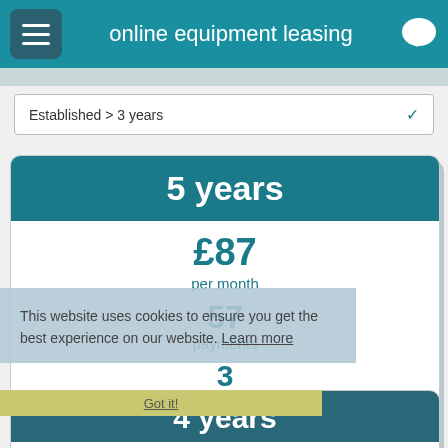online equipment leasing
Established > 3 years
5 years
£87 per month
57 payments
3 Payments In-advance
£20 Weekly Equivalent
This website uses cookies to ensure you get the best experience on our website. Learn more
Got it!
4 years
£108